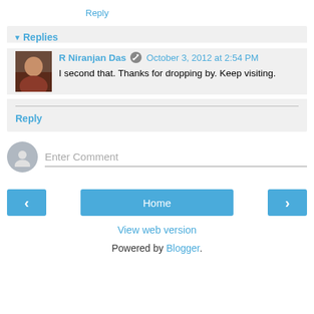Reply
▾ Replies
R Niranjan Das  October 3, 2012 at 2:54 PM
I second that. Thanks for dropping by. Keep visiting.
Reply
Enter Comment
Home
View web version
Powered by Blogger.